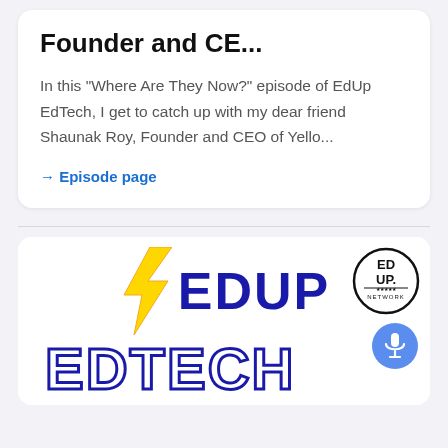Founder and CE...
In this "Where Are They Now?" episode of EdUp EdTech, I get to catch up with my dear friend Shaunak Roy, Founder and CEO of Yello...
→ Episode page
[Figure (logo): EdUp EdTech podcast banner with yellow lightning bolt, large blue EDUP text, EdUp Network circular logo, EDTECH text in outlined letters, and Episode 38: Kate Udalova text at bottom]